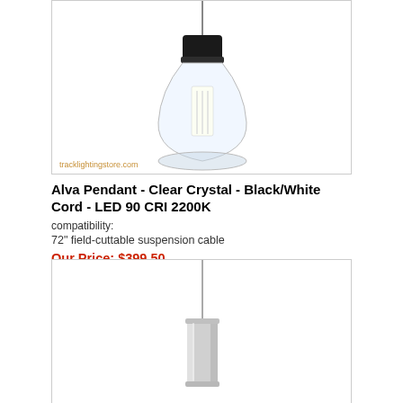[Figure (photo): Alva pendant light with clear crystal glass bulb shape and black top cap, hanging from a cord. Watermark reads tracklightingstore.com]
Alva Pendant - Clear Crystal - Black/White Cord - LED 90 CRI 2200K
compatibility:
72" field-cuttable suspension cable
Our Price: $399.50
[Figure (photo): Second pendant light fixture, chrome/silver cylindrical body, hanging from a thin suspension cable]